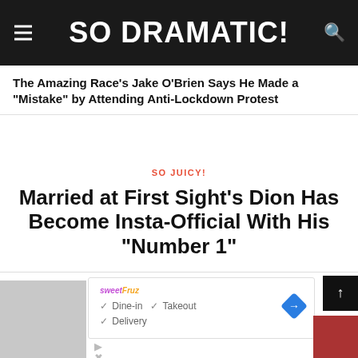SO DRAMATIC!
The Amazing Race's Jake O'Brien Says He Made a “Mistake” by Attending Anti-Lockdown Protest
SO JUICY!
Married at First Sight’s Dion Has Become Insta-Official With His “Number 1”
[Figure (screenshot): Advertisement showing sweetFruz restaurant with Dine-in, Takeout, and Delivery options, with a blue navigation arrow icon]